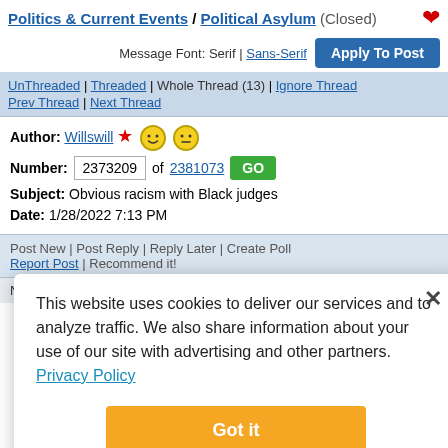Politics & Current Events / Political Asylum (Closed)
Message Font: Serif | Sans-Serif
UnThreaded | Threaded | Whole Thread (13) | Ignore Thread Prev Thread | Next Thread
Author: Willswill
Number: 2373209 of 2381073 GO
Subject: Obvious racism with Black judges
Date: 1/28/2022 7:13 PM
Post New | Post Reply | Reply Later | Create Poll Report Post | Recommend it!
No. of Recommendations: 4
This website uses cookies to deliver our services and to analyze traffic. We also share information about your use of our site with advertising and other partners. Privacy Policy
Got it
Cookie Settings